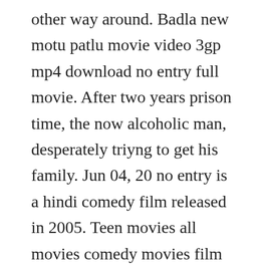other way around. Badla new motu patlu movie video 3gp mp4 download no entry full movie. After two years prison time, the now alcoholic man, desperately triyng to get his family. Jun 04, 20 no entry is a hindi comedy film released in 2005. Teen movies all movies comedy movies film movie movies to watch film music books music tv movies showing movies and tv shows. No entry songs by various artists available here for download. Watch this super hit bollywood comedy hindi movie bachelors no entry starring. No entry